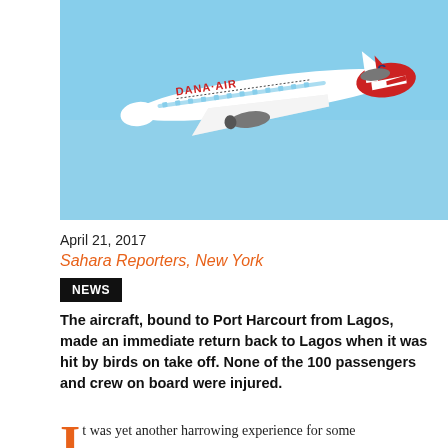[Figure (photo): Dana Air commercial jet aircraft in flight against a blue sky, red and white livery with 'DANA AIR' written on the fuselage]
April 21, 2017
Sahara Reporters, New York
NEWS
The aircraft, bound to Port Harcourt from Lagos, made an immediate return back to Lagos when it was hit by birds on take off. None of the 100 passengers and crew on board were injured.
It was yet another harrowing experience for some